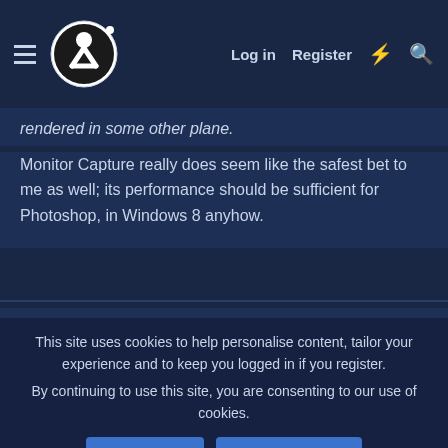OBS Forum — Log in | Register
rendered in some other plane.
Monitor Capture really does seem like the safest bet to me as well; its performance should be sufficient for Photoshop, in Windows 8 anyhow.
Fantus_Longhorn — Member
This site uses cookies to help personalise content, tailor your experience and to keep you logged in if you register. By continuing to use this site, you are consenting to our use of cookies.